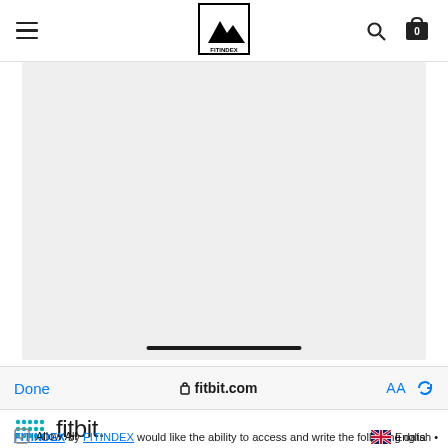FITINDEX navigation bar with hamburger menu, FITINDEX logo, search and cart icons
[Figure (screenshot): Large light gray image placeholder area with a dark horizontal scroll indicator bar at the bottom]
Done  🔒 fitbit.com  AA ↺
[Figure (logo): Fitbit dotted logo mark followed by the word 'fitbit' in thin lowercase font]
FITINDEX by FITINDEX would like the ability to access and write the following data in your Fitbit account.
Allow All
English •